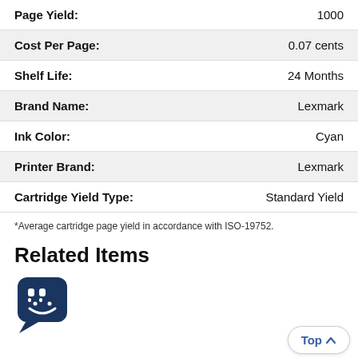| Attribute | Value |
| --- | --- |
| Page Yield: | 1000 |
| Cost Per Page: | 0.07 cents |
| Shelf Life: | 24 Months |
| Brand Name: | Lexmark |
| Ink Color: | Cyan |
| Printer Brand: | Lexmark |
| Cartridge Yield Type: | Standard Yield |
*Average cartridge page yield in accordance with ISO-19752.
Related Items
[Figure (illustration): Chat bubble icon with quotation marks and a smiley face, dark navy color]
Top ▲